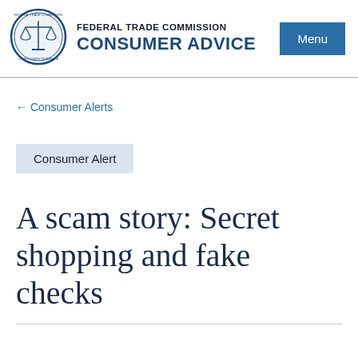[Figure (logo): Federal Trade Commission circular seal logo with scales of justice]
FEDERAL TRADE COMMISSION
CONSUMER ADVICE
Menu
← Consumer Alerts
Consumer Alert
A scam story: Secret shopping and fake checks